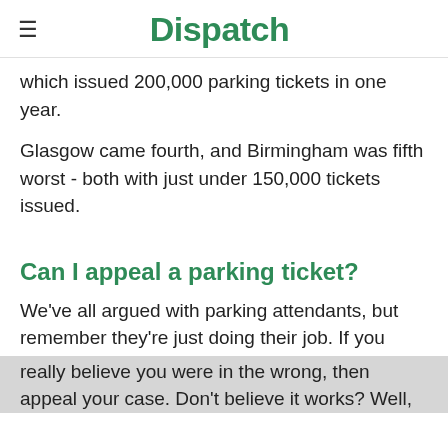Dispatch
which issued 200,000 parking tickets in one year.
Glasgow came fourth, and Birmingham was fifth worst - both with just under 150,000 tickets issued.
Can I appeal a parking ticket?
We've all argued with parking attendants, but remember they're just doing their job. If you really believe you were in the wrong, then appeal your case. Don't believe it works? Well,